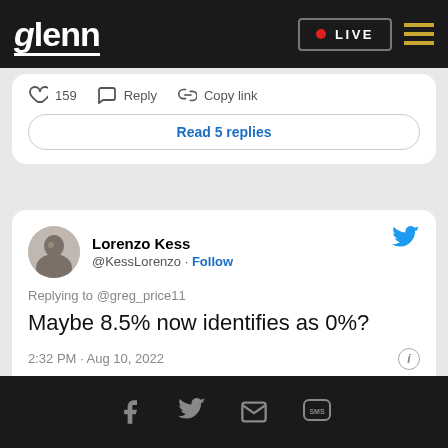glenn | LIVE
[Figure (screenshot): Partial tweet card showing 159 likes, Reply, Copy link actions and a 'Read 5 replies' button]
[Figure (screenshot): Tweet card by Lorenzo Kess (@KessLorenzo) replying to @greg_price11: 'Maybe 8.5% now identifies as 0%?' posted at 2:32 PM Aug 10, 2022 with 140 likes]
Facebook, Twitter, Email, SMS social share icons